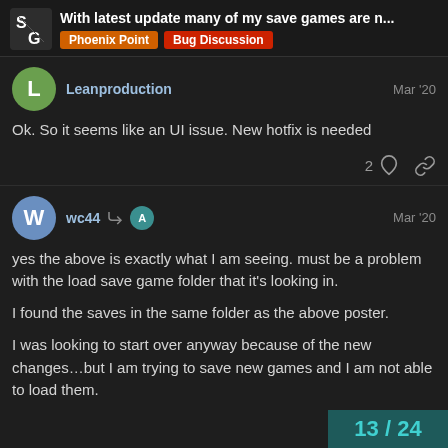With latest update many of my save games are n... | Phoenix Point | Bug Discussion
Leanproduction
Mar '20
Ok. So it seems like an UI issue. New hotfix is needed
2
wc44
Mar '20
yes the above is exactly what I am seeing. must be a problem with the load save game folder that it's looking in.

I found the saves in the same folder as the above poster.

I was looking to start over anyway because of the new changes…but I am trying to save new games and I am not able to load them.
13 / 24